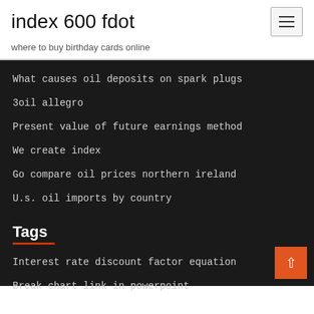index 600 fdot
where to buy birthday cards online
What causes oil deposits on spark plugs
3oil allegro
Present value of future earnings method
We create index
Go compare oil prices northern ireland
U.s. oil imports by country
Tags
Interest rate discount factor equation
Break chart link in powerpoint